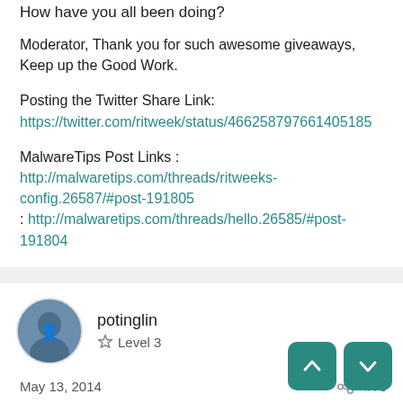How have you all been doing?
Moderator, Thank you for such awesome giveaways, Keep up the Good Work.
Posting the Twitter Share Link: https://twitter.com/ritweek/status/466258797661405185
MalwareTips Post Links : http://malwaretips.com/threads/ritweeks-config.26587/#post-191805 : http://malwaretips.com/threads/hello.26585/#post-191804
potinglin
Level 3
May 13, 2014
#75
Thanks for giveaway. I hope I will win one of the Hitma  Lic
The following I share this giveaway: